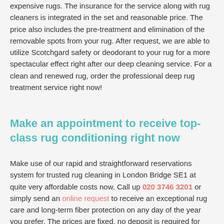expensive rugs. The insurance for the service along with rug cleaners is integrated in the set and reasonable price. The price also includes the pre-treatment and elimination of the removable spots from your rug. After request, we are able to utilize Scotchgard safety or deodorant to your rug for a more spectacular effect right after our deep cleaning service. For a clean and renewed rug, order the professional deep rug treatment service right now!
Make an appointment to receive top-class rug conditioning right now
Make use of our rapid and straightforward reservations system for trusted rug cleaning in London Bridge SE1 at quite very affordable costs now. Call up 020 3746 3201 or simply send an online request to receive an exceptional rug care and long-term fiber protection on any day of the year you prefer. The prices are fixed, no deposit is required for booking.
You will get as much as fifteen percent discount of the price for every other service you order together with the